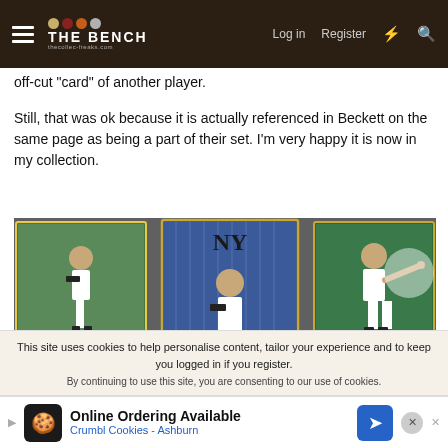The Bench — navigation bar with Log in, Register
off-cut "card" of another player.
Still, that was ok because it is actually referenced in Beckett on the same page as being a part of their set. I'm very happy it is now in my collection.
[Figure (photo): Three baseball trading cards side by side: Mitch Melusky (Detroit Tigers, C), Mike Mussina (New York Yankees, P), Denny Neagle (Colorado Rockies, P). Caption: 2001 Beckett Traded and Update Set Photography]
2001 Beckett Traded and Update Set Photography
This site uses cookies to help personalise content, tailor your experience and to keep you logged in if you register.
By continuing to use this site, you are consenting to our use of cookies.
Online Ordering Available
Crumbl Cookies - Ashburn